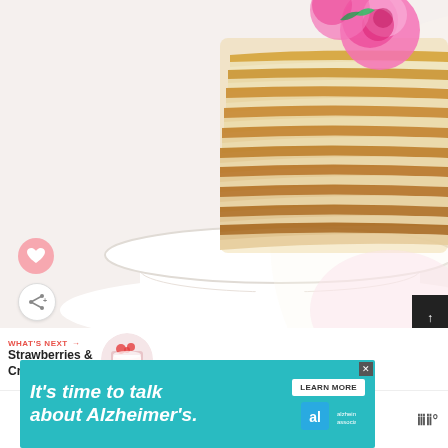[Figure (photo): A layered crepe cake topped with pink roses on a white cake stand, photographed from a slightly elevated angle on a white background]
[Figure (infographic): Heart-shaped like button (pink circle) and share button (white circle with share icon) overlaid on photo]
[Figure (infographic): Scroll-to-top button (dark square with up arrow) at right edge]
WHAT'S NEXT →
Strawberries & Cream Cake...
[Figure (photo): Thumbnail of a Strawberries and Cream Cake recipe image]
[Figure (infographic): Advertisement banner: teal/cyan background with text 'It's time to talk about Alzheimer's.' with Learn More button and Alzheimer's Association logo, close button in corner]